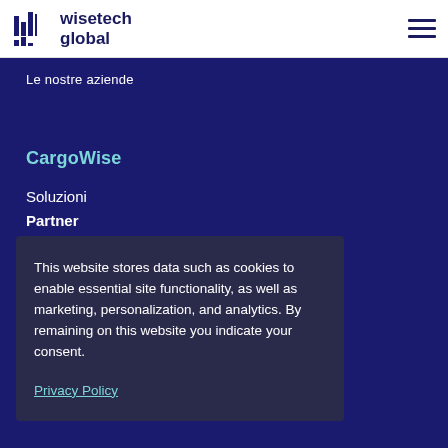[Figure (logo): WiseTech Global logo with bar chart icon and text]
[Figure (other): Hamburger menu icon (three horizontal lines)]
Le nostre aziende
CargoWise
Soluzioni
Partner
This website stores data such as cookies to enable essential site functionality, as well as marketing, personalization, and analytics. By remaining on this website you indicate your consent.
Privacy Policy